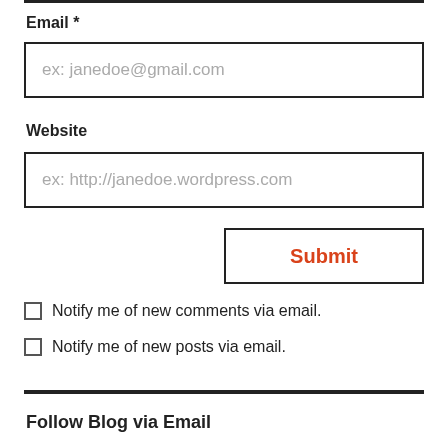Email *
[Figure (other): Email input field with placeholder text: ex: janedoe@gmail.com]
Website
[Figure (other): Website input field with placeholder text: ex: http://janedoe.wordpress.com]
[Figure (other): Submit button with red text: Submit]
Notify me of new comments via email.
Notify me of new posts via email.
Follow Blog via Email